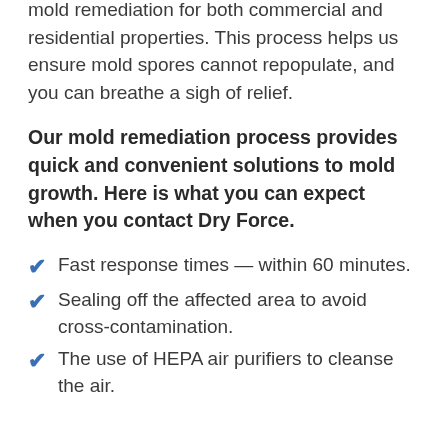mold remediation for both commercial and residential properties. This process helps us ensure mold spores cannot repopulate, and you can breathe a sigh of relief.
Our mold remediation process provides quick and convenient solutions to mold growth. Here is what you can expect when you contact Dry Force.
Fast response times — within 60 minutes.
Sealing off the affected area to avoid cross-contamination.
The use of HEPA air purifiers to cleanse the air.